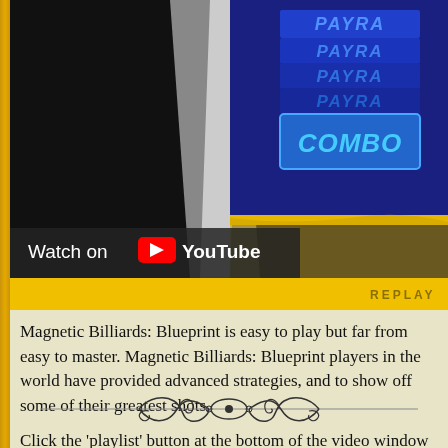[Figure (screenshot): Video player showing a Magnetic Billiards: Blueprint game screenshot with combo text overlay and a 'Watch on YouTube' bar and yellow REPLAY bar at the bottom.]
Magnetic Billiards: Blueprint is easy to play but far from easy to master. Magnetic Billiards: Blueprint players in the world have provided advanced strategies, and to show off some of their greatest shots.
Click the 'playlist' button at the bottom of the video window to see more on YouTube.
» Read the blog posts about each record breaki…